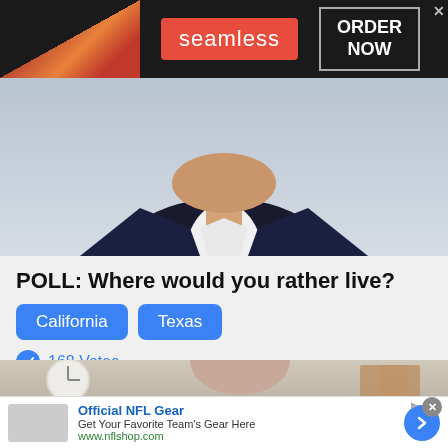[Figure (screenshot): Seamless food delivery advertisement banner with dark background, pizza image on left, red Seamless logo in center, and ORDER NOW button in outlined box on right with close X button]
[Figure (photo): Photo of a man in a suit jacket and white shirt, cropped to show his neck and lower face, with a light gray/blue background]
POLL: Where would you rather live?
California   Texas
168 Votes
[Figure (photo): Bottom portion of a photo showing a woman looking at a tablet, with another person in the background in what appears to be a kitchen or office setting]
[Figure (screenshot): Official NFL Gear advertisement - Get Your Favorite Team's Gear Here - www.nflshop.com - with blue circular arrow button and close X button]